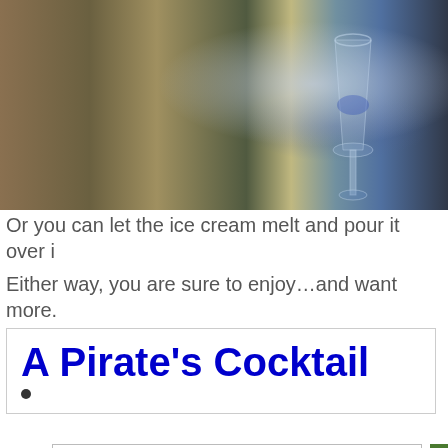[Figure (photo): Overhead view of wicker baskets, a wine glass with blue liquid being poured, striped fabric on a table.]
Or you can let the ice cream melt and pour it over i
Either way, you are sure to enjoy...and want more. that....my work here is done!
A Pirate’s Cocktail
Privacy & Cookies: This site uses cookies. By continuing to use this website, you agree to their use.
To find out more, including how to control cookies, see here: Cookie Policy
Close and accept